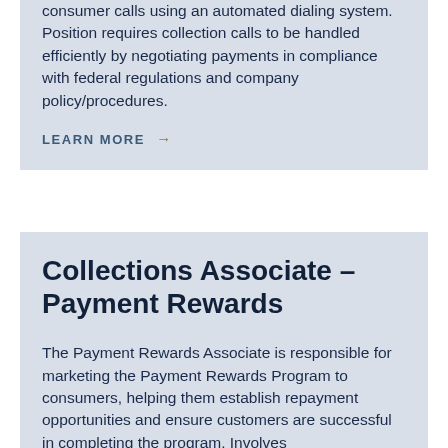consumer calls using an automated dialing system. Position requires collection calls to be handled efficiently by negotiating payments in compliance with federal regulations and company policy/procedures.
LEARN MORE →
Collections Associate – Payment Rewards
The Payment Rewards Associate is responsible for marketing the Payment Rewards Program to consumers, helping them establish repayment opportunities and ensure customers are successful in completing the program. Involves